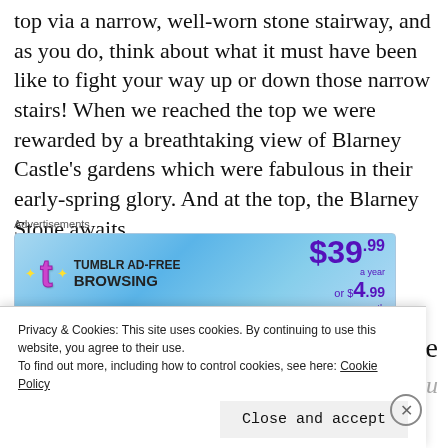top via a narrow, well-worn stone stairway, and as you do, think about what it must have been like to fight your way up or down those narrow stairs! When we reached the top we were rewarded by a breathtaking view of Blarney Castle's gardens which were fabulous in their early-spring glory. And at the top, the Blarney Stone awaits.
[Figure (screenshot): Tumblr Ad-Free Browsing advertisement banner. Shows Tumblr 't' logo in pink/purple, price $39.99 a year or $4.99 a month, on a blue gradient background.]
[Figure (photo): Partial photograph showing dark stone/rock surface, possibly Blarney Castle stonework.]
In case
Privacy & Cookies: This site uses cookies. By continuing to use this website, you agree to their use.
To find out more, including how to control cookies, see here: Cookie Policy
Close and accept